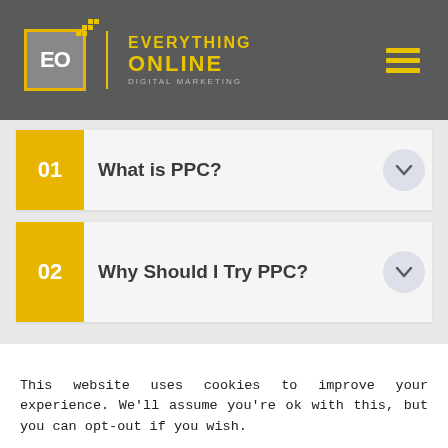[Figure (logo): Everything Online Digital Marketing logo with EO monogram in grey box with yellow border, yellow dots, yellow text, and hamburger menu icon]
01 What is PPC?
02 Why Should I Try PPC?
This website uses cookies to improve your experience. We'll assume you're ok with this, but you can opt-out if you wish.
Cookie settings   ACCEPT